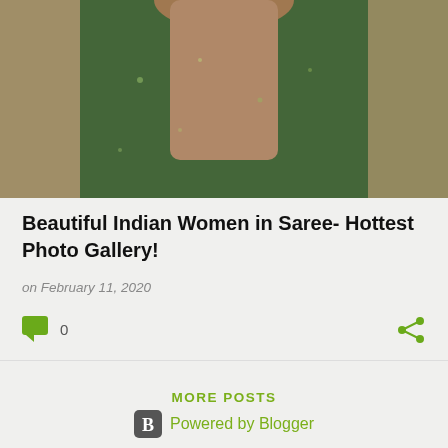[Figure (photo): Photo of a woman in a dark green embellished saree with long hair, photographed from behind/side against a beige/tan background.]
Beautiful Indian Women in Saree- Hottest Photo Gallery!
on February 11, 2020
0
MORE POSTS
Powered by Blogger